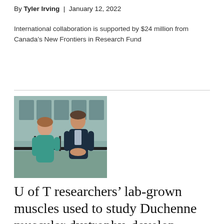By Tyler Irving | January 12, 2022
International collaboration is supported by $24 million from Canada’s New Frontiers in Research Fund
[Figure (photo): Two researchers, a woman in a teal top and a man in a dark suit, standing outdoors near a building]
U of T researchers’ lab-grown muscles used to study Duchenne muscular dystrophy, develop